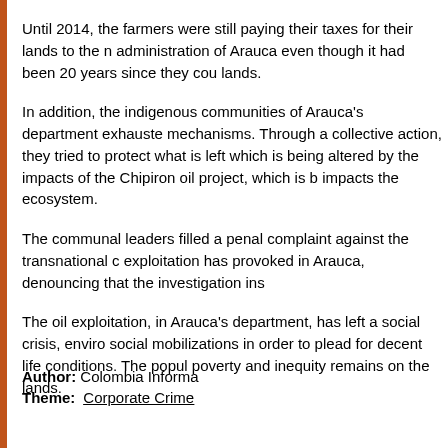Until 2014, the farmers were still paying their taxes for their lands to the administration of Arauca even though it had been 20 years since they could access their lands.
In addition, the indigenous communities of Arauca's department exhausted all mechanisms. Through a collective action, they tried to protect what is left of their territory, which is being altered by the impacts of the Chipiron oil project, which is known to negatively impacts the ecosystem.
The communal leaders filled a penal complaint against the transnational companies for the exploitation has provoked in Arauca, denouncing that the investigation institutions ignored the cases.
The oil exploitation, in Arauca's department, has left a social crisis, environmental crisis and social mobilizations in order to plead for decent life conditions. The population that lives in poverty and inequity remains on the lands.
Author: Colombia Informa
Theme: Corporate Crime